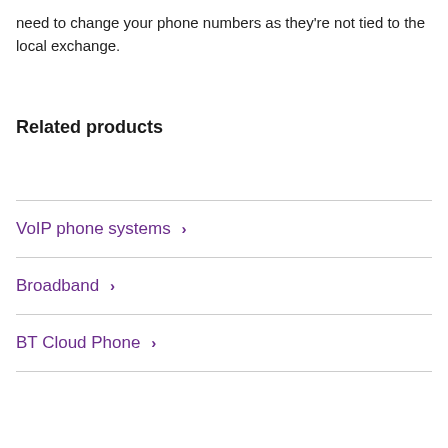need to change your phone numbers as they're not tied to the local exchange.
Related products
VoIP phone systems  ›
Broadband  ›
BT Cloud Phone  ›